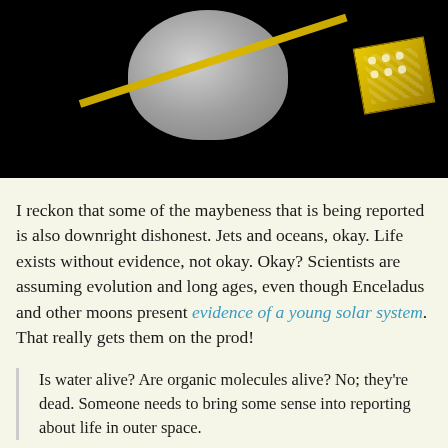[Figure (photo): A spacecraft with a white dish antenna and a gold-colored instrument box on a boom arm, set against a black background. Likely a rendering of a space probe such as Cassini.]
I reckon that some of the maybeness that is being reported is also downright dishonest. Jets and oceans, okay. Life exists without evidence, not okay. Okay? Scientists are assuming evolution and long ages, even though Enceladus and other moons present evidence of a young solar system. That really gets them on the prod!
Is water alive? Are organic molecules alive? No; they're dead. Someone needs to bring some sense into reporting about life in outer space.